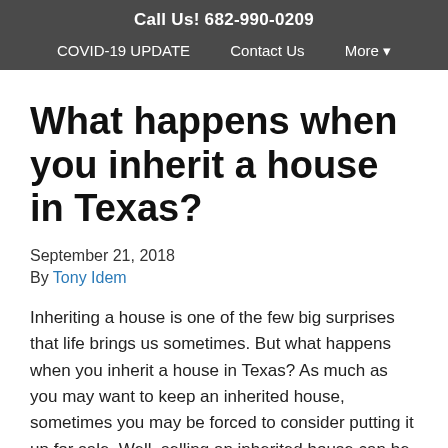Call Us! 682-990-0209
COVID-19 UPDATE   Contact Us   More ▾
What happens when you inherit a house in Texas?
September 21, 2018
By Tony Idem
Inheriting a house is one of the few big surprises that life brings us sometimes. But what happens when you inherit a house in Texas? As much as you may want to keep an inherited house, sometimes you may be forced to consider putting it up for sale. Well, selling an inherited house can be a demanding task, but definitely not impossible! With the right information and